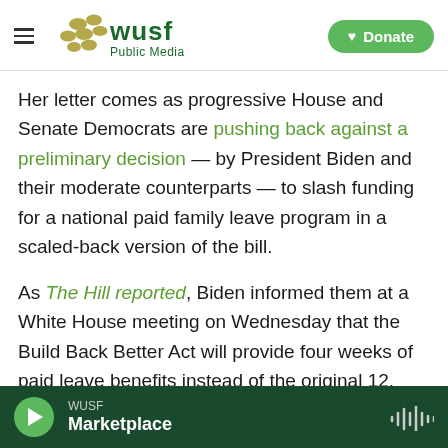[Figure (logo): WUSF Public Media logo with hamburger menu and Donate button]
Her letter comes as progressive House and Senate Democrats are pushing back against a preliminary decision — by President Biden and their moderate counterparts — to slash funding for a national paid family leave program in a scaled-back version of the bill.
As The Hill reported, Biden informed them at a White House meeting on Wednesday that the Build Back Better Act will provide four weeks of paid leave benefits instead of the original 12.
More than a dozen lawmakers sent a letter of their
WUSF Marketplace